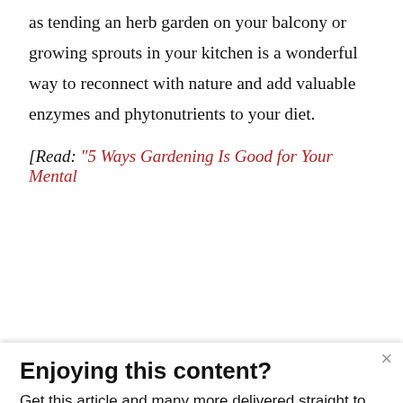as tending an herb garden on your balcony or growing sprouts in your kitchen is a wonderful way to reconnect with nature and add valuable enzymes and phytonutrients to your diet.
[Read: “5 Ways Gardening Is Good for Your Mental
Enjoying this content?
Get this article and many more delivered straight to
This website uses cookies to ensure you get the best experience on our website. Learn More
[Figure (logo): Hair Cuttery advertisement with yellow HC logo, Walk-Ins Available text, Hair Cuttery brand name in blue, and a blue navigation arrow icon]